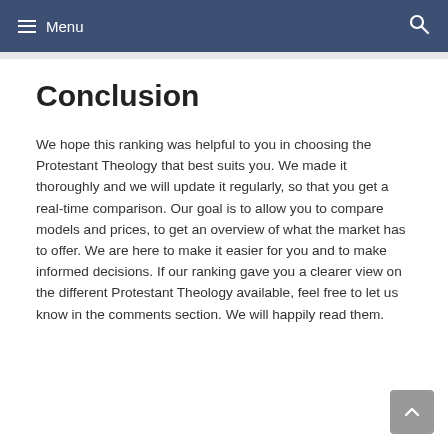Menu
Conclusion
We hope this ranking was helpful to you in choosing the Protestant Theology that best suits you. We made it thoroughly and we will update it regularly, so that you get a real-time comparison. Our goal is to allow you to compare models and prices, to get an overview of what the market has to offer. We are here to make it easier for you and to make informed decisions. If our ranking gave you a clearer view on the different Protestant Theology available, feel free to let us know in the comments section. We will happily read them.